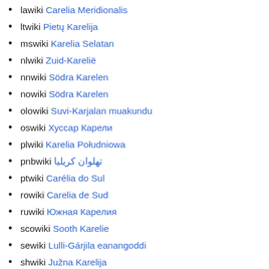lawiki Carelia Meridionalis
ltwiki Pietų Karelija
mswiki Karelia Selatan
nlwiki Zuid-Karelië
nnwiki Södra Karelen
nowiki Södra Karelen
olowiki Suvi-Karjalan muakundu
oswiki Хуссар Карели
plwiki Karelia Południowa
pnbwiki تھلوان کریلیا
ptwiki Carélia do Sul
rowiki Carelia de Sud
ruwiki Южная Карелия
scowiki Sooth Karelie
sewiki Lulli-Gárjila eanangoddi
shwiki Južna Karelija